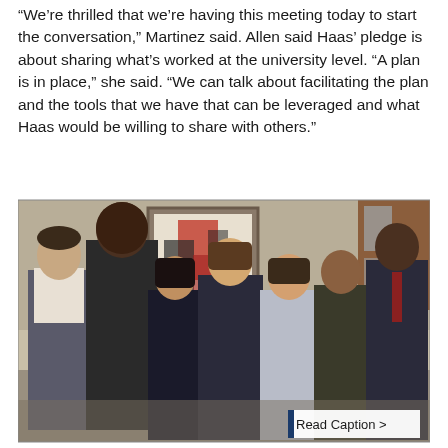“We’re thrilled that we’re having this meeting today to start the conversation,” Martinez said. Allen said Haas’ pledge is about sharing what’s worked at the university level. “A plan is in place,” she said. “We can talk about facilitating the plan and the tools that we have that can be leveraged and what Haas would be willing to share with others.”
[Figure (photo): Group photo of seven people (four women, three men) standing together in an office or conference room setting, smiling at the camera. A framed artwork is visible on the wall behind them. A 'Read Caption >' button appears in the bottom right corner of the photo.]